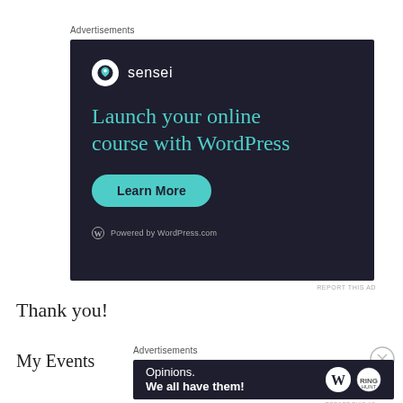Advertisements
[Figure (illustration): Sensei advertisement banner on dark navy background. Shows Sensei logo (white circle with tree icon and 'sensei' text), headline 'Launch your online course with WordPress' in teal/cyan color, a teal 'Learn More' button, and 'Powered by WordPress.com' at the bottom.]
REPORT THIS AD
Thank you!
My Events
Advertisements
[Figure (illustration): WordPress advertisement banner on dark navy background. Text reads 'Opinions. We all have them!' with WordPress logo and another circular logo on the right.]
REPORT THIS AD